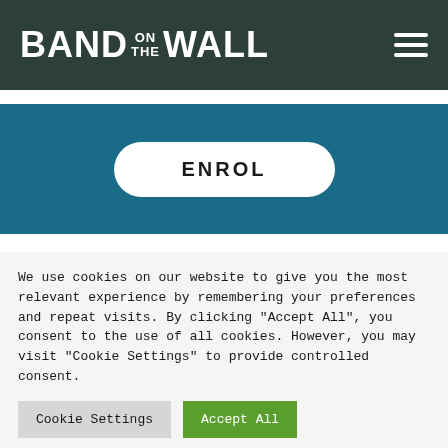BAND ON THE WALL
[Figure (other): ENROL button on teal background]
We use cookies on our website to give you the most relevant experience by remembering your preferences and repeat visits. By clicking "Accept All", you consent to the use of all cookies. However, you may visit "Cookie Settings" to provide controlled consent.
Cookie Settings | Accept All